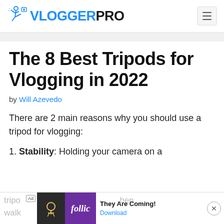VLOGGERPRO
The 8 Best Tripods for Vlogging in 2022
by Will Azevedo
There are 2 main reasons why you should use a tripod for vlogging:
1. Stability: Holding your camera on a tripod ... when walking
[Figure (screenshot): Advertisement banner at the bottom showing 'They Are Coming!' with Follic branding and a Download link, with close button]